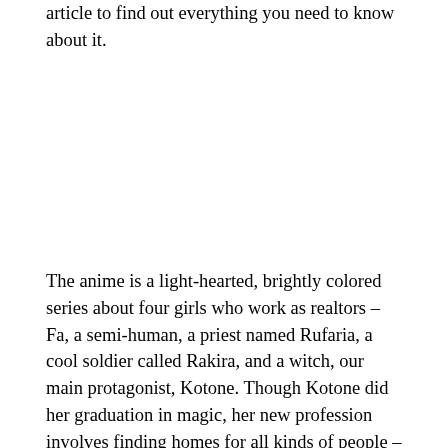article to find out everything you need to know about it.
The anime is a light-hearted, brightly colored series about four girls who work as realtors – Fa, a semi-human, a priest named Rufaria, a cool soldier called Rakira, and a witch, our main protagonist, Kotone. Though Kotone did her graduation in magic, her new profession involves finding homes for all kinds of people – necromancers, a guild receptionist with a pegasus, and many other